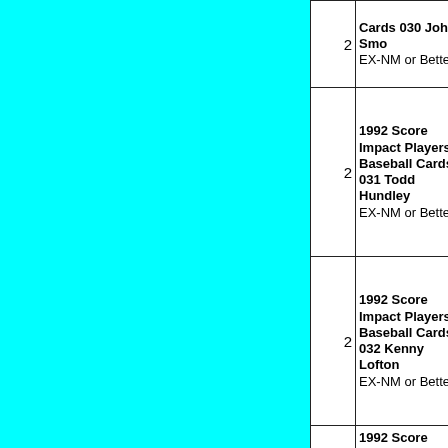| qty | description |
| --- | --- |
| 2 | Cards 030 John Smo EX-NM or Better |
| 2 | 1992 Score Impact Players Baseball Cards 031 Todd Hundley EX-NM or Better |
| 2 | 1992 Score Impact Players Baseball Cards 032 Kenny Lofton EX-NM or Better |
| 2 | 1992 Score Impact Players Baseball Cards 033 |